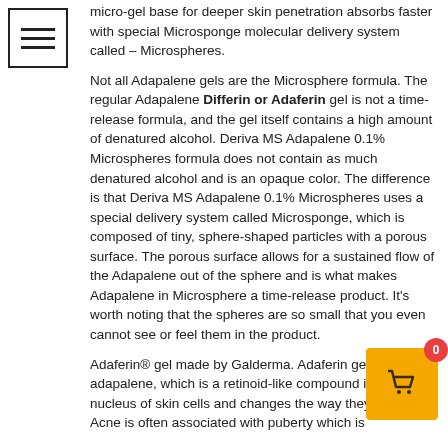[Figure (other): Menu/hamburger icon in a square border, top-left corner]
micro-gel base for deeper skin penetration absorbs faster with special Microsponge molecular delivery system called – Microspheres.
Not all Adapalene gels are the Microsphere formula. The regular Adapalene Differin or Adaferin gel is not a time-release formula, and the gel itself contains a high amount of denatured alcohol. Deriva MS Adapalene 0.1% Microspheres formula does not contain as much denatured alcohol and is an opaque color. The difference is that Deriva MS Adapalene 0.1% Microspheres uses a special delivery system called Microsponge, which is composed of tiny, sphere-shaped particles with a porous surface. The porous surface allows for a sustained flow of the Adapalene out of the sphere and is what makes Adapalene in Microsphere a time-release product. It's worth noting that the spheres are so small that you even cannot see or feel them in the product.
Adaferin® gel made by Galderma. Adaferin gel contains adapalene, which is a retinoid-like compound in the nucleus of skin cells and changes the way they behave. Acne is often associated with puberty which is
[Figure (other): Shopping cart widget with orange background, showing cart icon and badge with number 0]